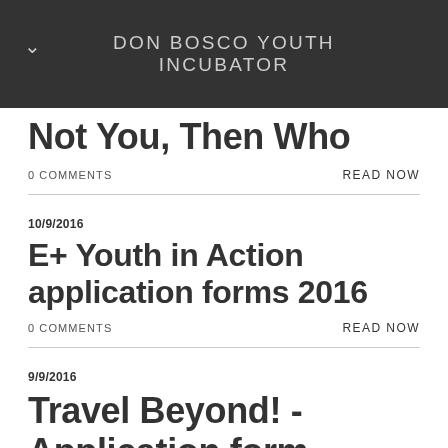DON BOSCO YOUTH INCUBATOR
Not You, Then Who
0 COMMENTS
READ NOW
10/9/2016
E+ Youth in Action application forms 2016
0 COMMENTS
READ NOW
9/9/2016
Travel Beyond! - Application form